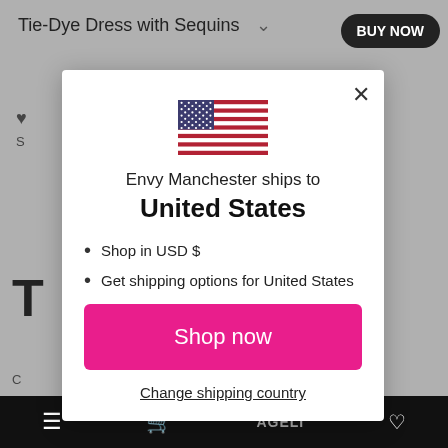[Figure (screenshot): E-commerce website background showing 'Tie-Dye Dress with Sequins' product page with a BUY NOW button, partially obscured by a modal dialog.]
[Figure (infographic): Modal dialog popup showing the US flag, shipping destination info, list items, a pink 'Shop now' button, and a 'Change shipping country' link.]
Envy Manchester ships to
United States
Shop in USD $
Get shipping options for United States
Shop now
Change shipping country